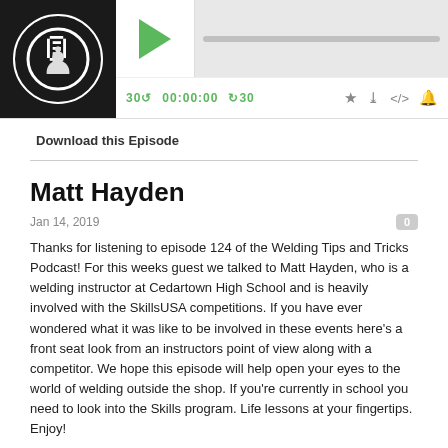[Figure (screenshot): Podcast player UI with logo, play button, progress bar, time controls showing 00:00:00, and icons for RSS, download, embed, and notifications]
Download this Episode
Matt Hayden
Jan 14, 2019
Thanks for listening to episode 124 of the Welding Tips and Tricks Podcast!  For this weeks guest we talked to Matt Hayden, who is a welding instructor at Cedartown High School and is heavily involved with the SkillsUSA competitions.  If you have ever wondered what it was like to be involved in these events here's a front seat look from an instructors point of view along with a competitor.  We hope this episode will help open your eyes to the world of welding outside the shop.  If you're currently in school you need to look into the Skills program.  Life lessons at your fingertips.  Enjoy!
If you're liking what you hear please leave us a comment and rating on whatever podcast platform your listening from.  It's always great to hear what our listeners think.  Plus, the more positive ratings we get